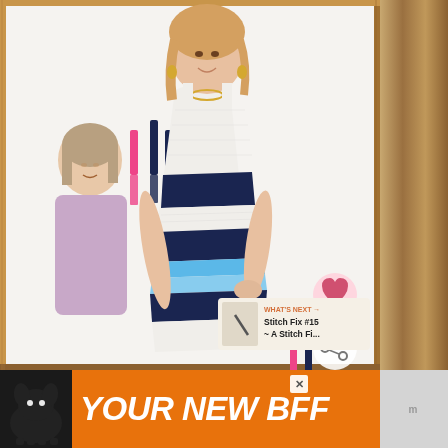[Figure (photo): A woman wearing a white dress with navy and blue horizontal stripes trying it on, smiling. A young girl stands to her left. Wood-framed mirror or doorway visible. Pink and navy tassels hang on the wall behind. Social media style interface with heart and share icons, and a 'What's Next' thumbnail showing 'Stitch Fix #15 ~ A Stitch Fi...']
[Figure (advertisement): Orange advertisement banner at the bottom with a black dog silhouette on the left and bold italic white text reading 'YOUR NEW BFF'. A close X button visible top right of the ad.]